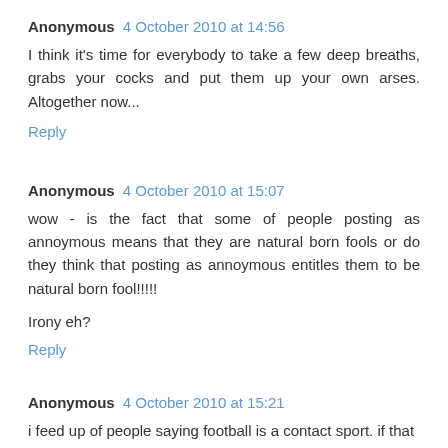Anonymous 4 October 2010 at 14:56
I think it's time for everybody to take a few deep breaths, grabs your cocks and put them up your own arses. Altogether now...
Reply
Anonymous 4 October 2010 at 15:07
wow - is the fact that some of people posting as annoymous means that they are natural born fools or do they think that posting as annoymous entitles them to be natural born fool!!!!!
Irony eh?
Reply
Anonymous 4 October 2010 at 15:21
i feed up of people saying football is a contact sport. if that